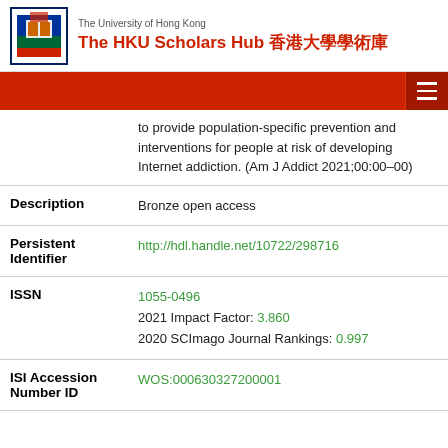The University of Hong Kong — The HKU Scholars Hub 香港大學學術庫
to provide population-specific prevention and interventions for people at risk of developing Internet addiction. (Am J Addict 2021;00:00–00)
| Field | Value |
| --- | --- |
| Description | Bronze open access |
| Persistent Identifier | http://hdl.handle.net/10722/298716 |
| ISSN | 1055-0496
2021 Impact Factor: 3.860
2020 SCImago Journal Rankings: 0.997 |
| ISI Accession Number ID | WOS:000630327200001 |